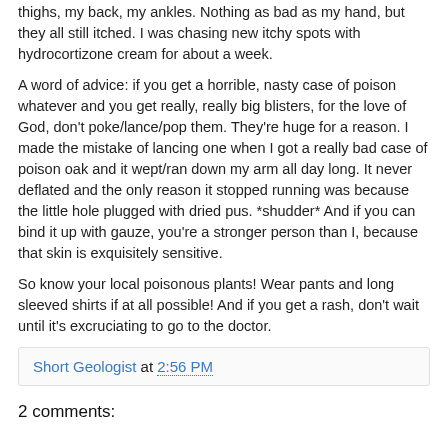thighs, my back, my ankles. Nothing as bad as my hand, but they all still itched. I was chasing new itchy spots with hydrocortizone cream for about a week.
A word of advice: if you get a horrible, nasty case of poison whatever and you get really, really big blisters, for the love of God, don't poke/lance/pop them. They're huge for a reason. I made the mistake of lancing one when I got a really bad case of poison oak and it wept/ran down my arm all day long. It never deflated and the only reason it stopped running was because the little hole plugged with dried pus. *shudder* And if you can bind it up with gauze, you're a stronger person than I, because that skin is exquisitely sensitive.
So know your local poisonous plants! Wear pants and long sleeved shirts if at all possible! And if you get a rash, don't wait until it's excruciating to go to the doctor.
Short Geologist at 2:56 PM
2 comments: